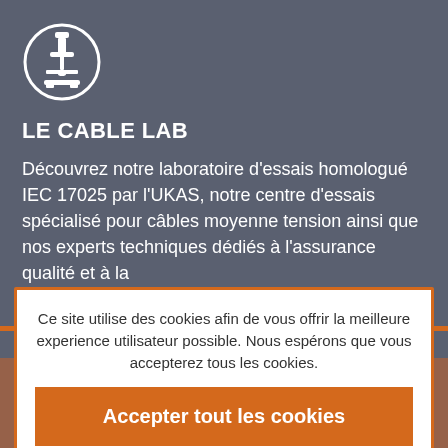[Figure (logo): White microscope icon inside a white circle outline on dark gray background]
LE CABLE LAB
Découvrez notre laboratoire d'essais homologué IEC 17025 par l'UKAS, notre centre d'essais spécialisé pour câbles moyenne tension ainsi que nos experts techniques dédiés à l'assurance qualité et à la
Ce site utilise des cookies afin de vous offrir la meilleure experience utilisateur possible. Nous espérons que vous accepterez tous les cookies.
Accepter tout les cookies
Modifier vos paramètres
Décliner